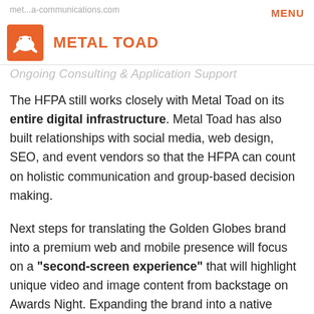MENU
[Figure (logo): Metal Toad logo: orange square with white toad icon, followed by orange bold text METAL TOAD]
Ongoing Consulting & Application Support
The HFPA still works closely with Metal Toad on its entire digital infrastructure. Metal Toad has also built relationships with social media, web design, SEO, and event vendors so that the HFPA can count on holistic communication and group-based decision making.
Next steps for translating the Golden Globes brand into a premium web and mobile presence will focus on a "second-screen experience" that will highlight unique video and image content from backstage on Awards Night. Expanding the brand into a native mobile app driven by unique content will be specific to the Golden Globes brand and community.